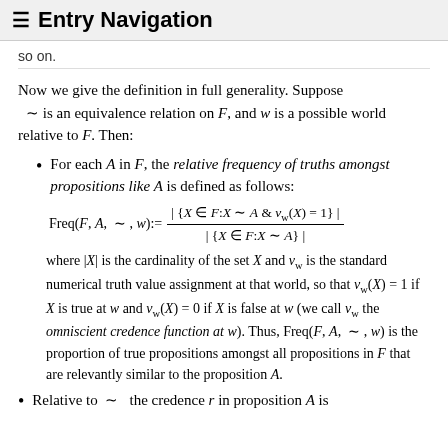≡ Entry Navigation
so on.
Now we give the definition in full generality. Suppose ~ is an equivalence relation on F, and w is a possible world relative to F. Then:
For each A in F, the relative frequency of truths amongst propositions like A is defined as follows:
where |X| is the cardinality of the set X and v_w is the standard numerical truth value assignment at that world, so that v_w(X) = 1 if X is true at w and v_w(X) = 0 if X is false at w (we call v_w the omniscient credence function at w). Thus, Freq(F, A, ~, w) is the proportion of true propositions amongst all propositions in F that are relevantly similar to the proposition A.
Relative to ~ the credence r in proposition A is